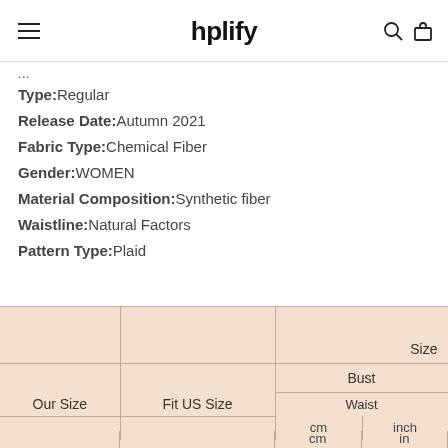hplify
Type: Regular
Release Date: Autumn 2021
Fabric Type: Chemical Fiber
Gender: WOMEN
Material Composition: Synthetic fiber
Waistline: Natural Factors
Pattern Type: Plaid
| Our Size | Fit US Size | Bust cm | Bust inch | Waist cm | Waist in |
| --- | --- | --- | --- | --- | --- |